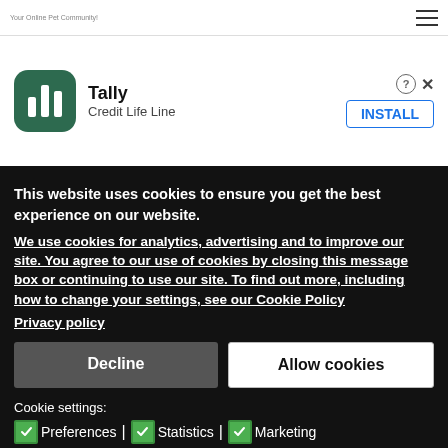Your Online Pet Community!
[Figure (screenshot): Tally app advertisement banner with green icon showing bar chart stripes, title 'Tally', subtitle 'Credit Life Line', with INSTALL button and close controls]
This website uses cookies to ensure you get the best experience on our website.
We use cookies for analytics, advertising and to improve our site. You agree to our use of cookies by closing this message box or continuing to use our site. To find out more, including how to change your settings, see our Cookie Policy
Privacy policy
Decline
Allow cookies
Cookie settings:
Preferences | Statistics | Marketing